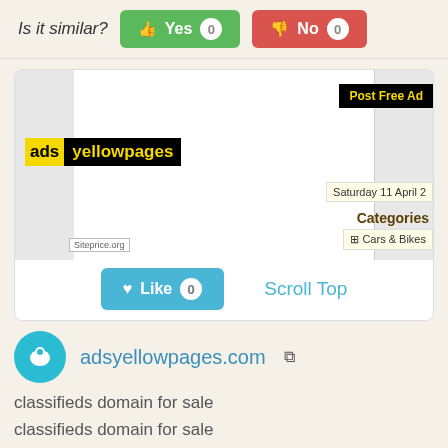Is it similar?
[Figure (screenshot): Screenshot of adsyellowpages.com website showing logo, 'Post Free Ad' button, date 'Saturday 11 April', Categories section with 'Cars & Bikes', and siteprice.org watermark]
adsyellowpages.com
classifieds domain for sale
classifieds domain for sale